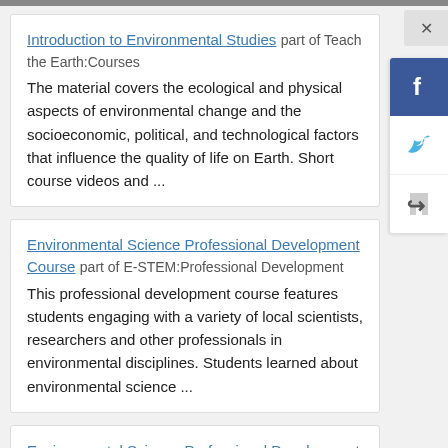Introduction to Environmental Studies part of Teach the Earth:Courses
The material covers the ecological and physical aspects of environmental change and the socioeconomic, political, and technological factors that influence the quality of life on Earth. Short course videos and ...
Environmental Science Professional Development Course part of E-STEM:Professional Development
This professional development course features students engaging with a variety of local scientists, researchers and other professionals in environmental disciplines. Students learned about environmental science ...
Environmental Science Professional Development Seminar part of E-STEM:Professional Development
This two-unit seminar is for undergraduate Environmental Science and Studies students. The primary goal is to spend time thinking about what environmental science looks like out ...